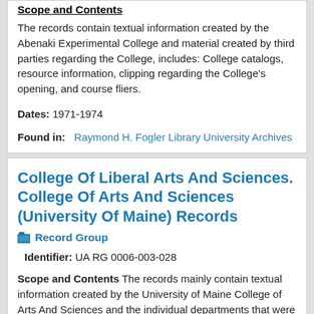Scope and Contents
The records contain textual information created by the Abenaki Experimental College and material created by third parties regarding the College, includes: College catalogs, resource information, clipping regarding the College's opening, and course fliers.
Dates: 1971-1974
Found in: Raymond H. Fogler Library University Archives
College Of Liberal Arts And Sciences. College Of Arts And Sciences (University Of Maine) Records
Record Group
Identifier: UA RG 0006-003-028
Scope and Contents
The records mainly contain textual information created by the University of Maine College of Arts And Sciences and the individual departments that were part of the College. The record series Faculty Meeting Records contains copies of